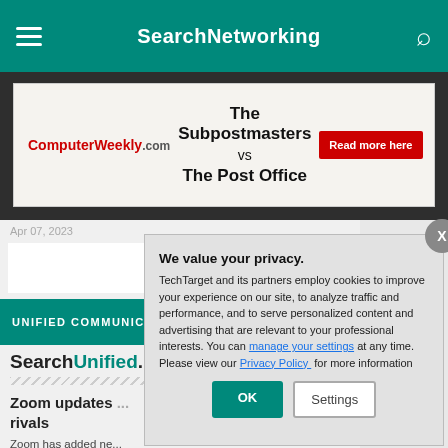SearchNetworking
[Figure (screenshot): ComputerWeekly.com advertisement banner: 'The Subpostmasters vs The Post Office' with a red 'Read more here' button]
UNIFIED COMMUNIC...
SearchUnified...
Zoom updates ... rivals
Zoom has added ne... agents, giving mana...
We value your privacy.
TechTarget and its partners employ cookies to improve your experience on our site, to analyze traffic and performance, and to serve personalized content and advertising that are relevant to your professional interests. You can manage your settings at any time. Please view our Privacy Policy for more information